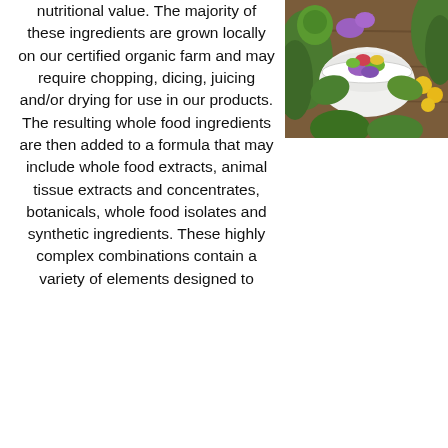[Figure (photo): A white bowl filled with colorful herbs and flowers, surrounded by green plants and yellow flowers on a wooden surface.]
nutritional value. The majority of these ingredients are grown locally on our certified organic farm and may require chopping, dicing, juicing and/or drying for use in our products. The resulting whole food ingredients are then added to a formula that may include whole food extracts, animal tissue extracts and concentrates, botanicals, whole food isolates and synthetic ingredients. These highly complex combinations contain a variety of elements designed to